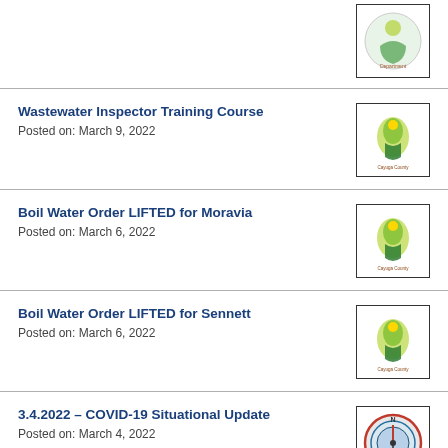[Figure (logo): Partial health department logo at top]
Wastewater Inspector Training Course
Posted on: March 9, 2022
Boil Water Order LIFTED for Moravia
Posted on: March 6, 2022
Boil Water Order LIFTED for Sennett
Posted on: March 6, 2022
3.4.2022 – COVID-19 Situational Update
Posted on: March 4, 2022
3.4.2022 – Upcoming COVID-19 Vaccine Clinics
Posted on: March 4, 2022